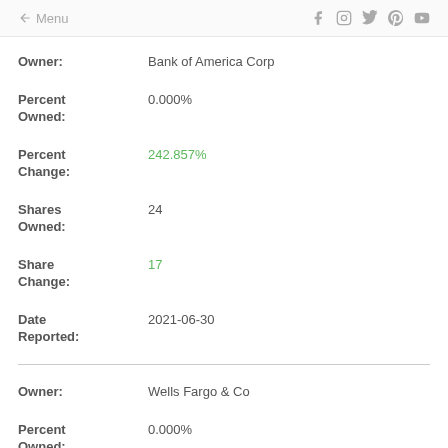← Menu   f  Instagram  Twitter  Pinterest  YouTube
Owner: Bank of America Corp
Percent Owned: 0.000%
Percent Change: 242.857%
Shares Owned: 24
Share Change: 17
Date Reported: 2021-06-30
Owner: Wells Fargo & Co
Percent Owned: 0.000%